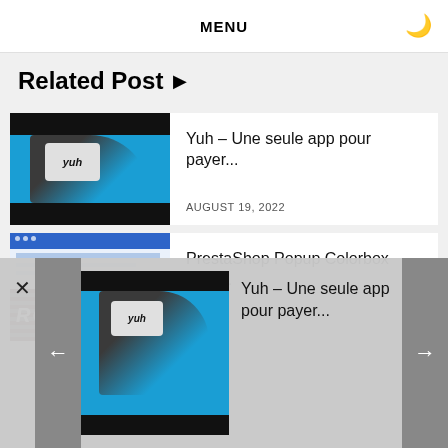MENU
Related Post ▶
[Figure (photo): Photo of a person holding a phone with 'yuh' app, against blue sky, with black bars top and bottom]
Yuh – Une seule app pour payer...
AUGUST 19, 2022
[Figure (screenshot): Screenshot of PrestaShop website with browser UI, green header bar, and a Rodeo image at the bottom]
PrestaShop Popup Colorbox Free...
[Figure (photo): Popup overlay showing Yuh app photo thumbnail with navigation arrows]
Yuh – Une seule app pour payer...